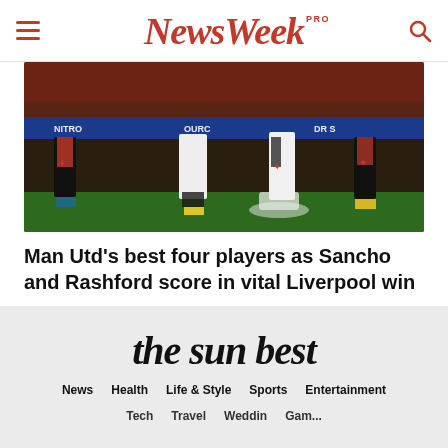NewsWeek PRO
[Figure (photo): Football players legs and feet on pitch during Man Utd vs Liverpool match, showing red and black socks, football boots, with crowd in background]
Man Utd’s best four players as Sancho and Rashford score in vital Liverpool win
Thesunbest - August 22, 2022
the sun best
News  Health  Life & Style  Sports  Entertainment